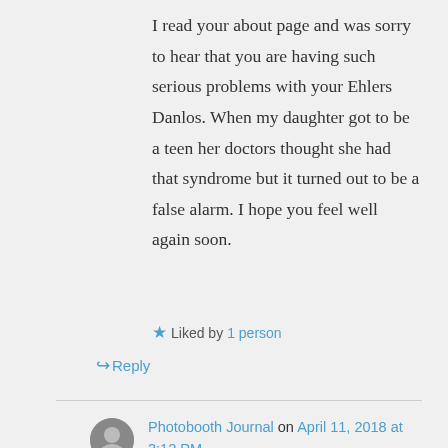I read your about page and was sorry to hear that you are having such serious problems with your Ehlers Danlos. When my daughter got to be a teen her doctors thought she had that syndrome but it turned out to be a false alarm. I hope you feel well again soon.
★ Liked by 1 person
↳ Reply
Photobooth Journal on April 11, 2018 at 3:12 PM
Wow, that is a coincidence!